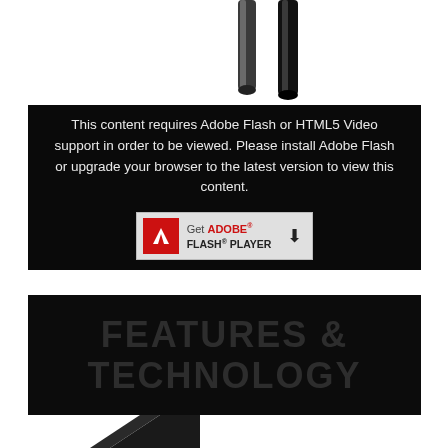[Figure (photo): Two vertical cylindrical poles/rods shown from above against white background, partially cropped at top]
This content requires Adobe Flash or HTML5 Video support in order to be viewed. Please install Adobe Flash or upgrade your browser to the latest version to view this content.
[Figure (logo): Get Adobe Flash Player badge/button with red Flash icon and download arrow]
[Figure (photo): Dark banner with large bold text reading FEATURES & TECHNOLOGY in dark grey on black background]
[Figure (photo): Partial image at bottom showing corner of a dark object against white background]